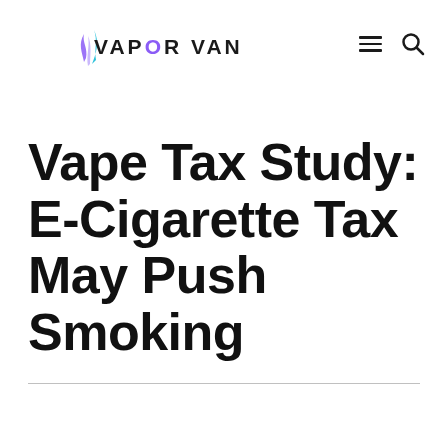VAPOR VANITY
Vape Tax Study: E-Cigarette Tax May Push Smoking